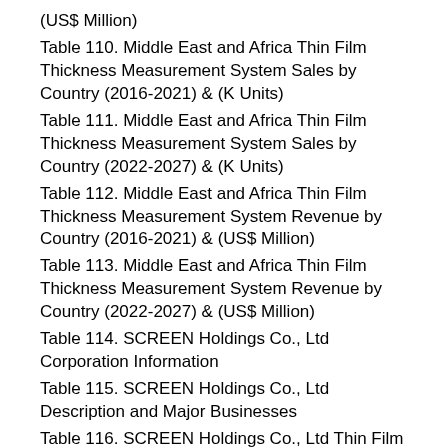(US$ Million)
Table 110. Middle East and Africa Thin Film Thickness Measurement System Sales by Country (2016-2021) & (K Units)
Table 111. Middle East and Africa Thin Film Thickness Measurement System Sales by Country (2022-2027) & (K Units)
Table 112. Middle East and Africa Thin Film Thickness Measurement System Revenue by Country (2016-2021) & (US$ Million)
Table 113. Middle East and Africa Thin Film Thickness Measurement System Revenue by Country (2022-2027) & (US$ Million)
Table 114. SCREEN Holdings Co., Ltd Corporation Information
Table 115. SCREEN Holdings Co., Ltd Description and Major Businesses
Table 116. SCREEN Holdings Co., Ltd Thin Film Thickness Measurement System Sales (K Units), Revenue (US$ Million), Price (US$/Unit) and Gross Margin (2016-2021)
Table 117. SCREEN Holdings Co., Ltd Thin Film Thick...